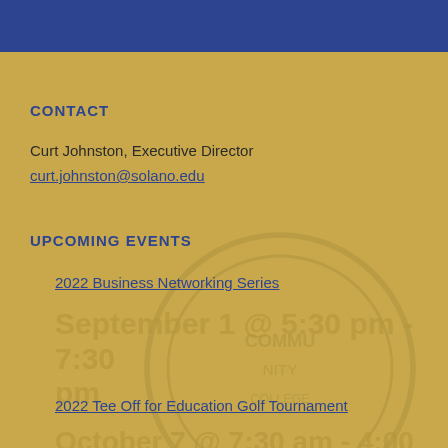CONTACT
Curt Johnston, Executive Director
curt.johnston@solano.edu
UPCOMING EVENTS
2022 Business Networking Series
September 1 @ 5:30 pm - 7:30 pm
2022 Tee Off for Education Golf Tournament
October 7 @ 7:30 am - 4:00 pm